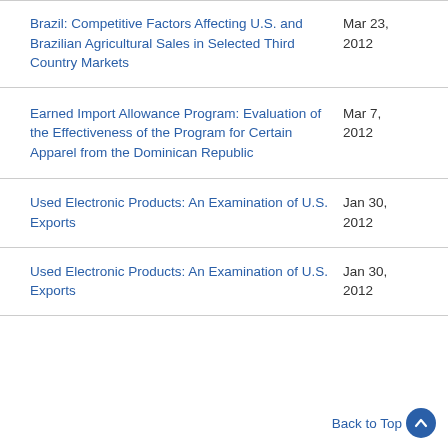Brazil: Competitive Factors Affecting U.S. and Brazilian Agricultural Sales in Selected Third Country Markets
Earned Import Allowance Program: Evaluation of the Effectiveness of the Program for Certain Apparel from the Dominican Republic
Used Electronic Products: An Examination of U.S. Exports
Used Electronic Products: An Examination of U.S. Exports
Back to Top